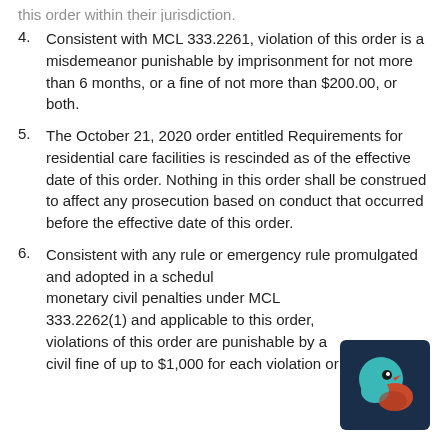4. Consistent with MCL 333.2261, violation of this order is a misdemeanor punishable by imprisonment for not more than 6 months, or a fine of not more than $200.00, or both.
5. The October 21, 2020 order entitled Requirements for residential care facilities is rescinded as of the effective date of this order. Nothing in this order shall be construed to affect any prosecution based on conduct that occurred before the effective date of this order.
6. Consistent with any rule or emergency rule promulgated and adopted in a schedule of monetary civil penalties under MCL 333.2262(1) and applicable to this order, violations of this order are punishable by a civil fine of up to $1,000 for each violation or day that a violation continues.
[Figure (logo): Dark navy blue rounded square with a stylized bird (robin/parrot) illustration — teal circle head with orange-red body]